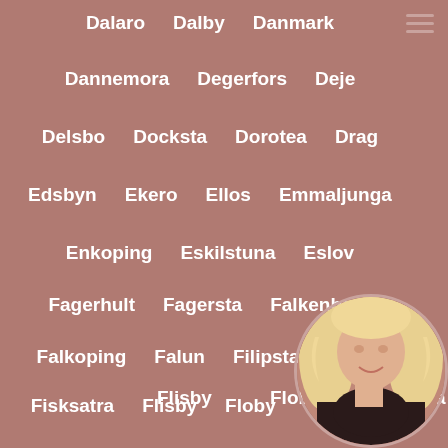Dalaro
Dalby
Danmark
Dannemora
Degerfors
Deje
Delsbo
Docksta
Dorotea
Drag
Edsbyn
Ekero
Ellos
Emmaljunga
Enkoping
Eskilstuna
Eslov
Fagerhult
Fagersta
Falkenberg
Falkoping
Falun
Filipstad
Finja
Fisksatra
Flisby
Floby
Forshaga
Fristad
Funasdalen
Ga...
Garphyttan
Gavle
Ge...
Gislaved
Gnarp
Gnesta
Gnosjo
[Figure (photo): Circular avatar photo of a blonde woman]